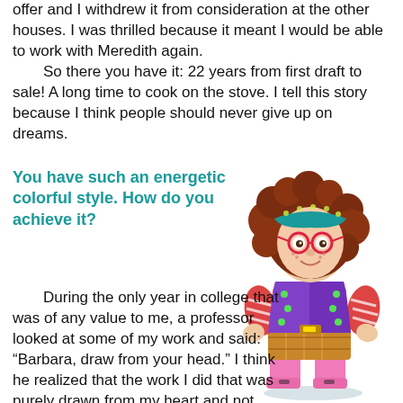offer and I withdrew it from consideration at the other houses. I was thrilled because it meant I would be able to work with Meredith again.
    So there you have it: 22 years from first draft to sale! A long time to cook on the stove. I tell this story because I think people should never give up on dreams.
You have such an energetic colorful style. How do you achieve it?
[Figure (illustration): Cartoon illustration of a quirky, colorful young girl with big curly auburn hair, a teal headband, red glasses, layered beaded necklaces, a purple polka-dot vest, striped shirt, plaid shorts, and pink rain boots, standing with hands on hips.]
During the only year in college that was of any value to me, a professor looked at some of my work and said: “Barbara, draw from your head.” I think he realized that the work I did that was purely drawn from my heart and not from life was so much better because it was intuitive, as opposed to tightly rendered. When I want to work on a project, I need to get to the part of